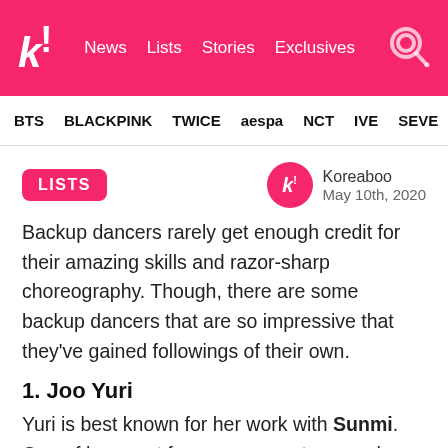k! News Lists Stories Exclusives
BTS BLACKPINK TWICE aespa NCT IVE SEVE
LISTS
Koreaboo
May 10th, 2020
Backup dancers rarely get enough credit for their amazing skills and razor-sharp choreography. Though, there are some backup dancers that are so impressive that they've gained followings of their own.
1. Joo Yuri
Yuri is best known for her work with Sunmi. One of her most famous moments was when she appeared to...